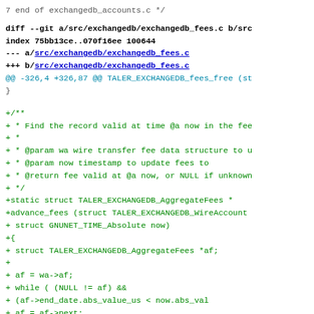} end of exchangedb_accounts.c */
diff --git a/src/exchangedb/exchangedb_fees.c b/src/
index 75bb13ce..070f16ee 100644
--- a/src/exchangedb/exchangedb_fees.c
+++ b/src/exchangedb/exchangedb_fees.c
@@ -326,4 +326,87 @@ TALER_EXCHANGEDB_fees_free (st
 }
+/**
+ * Find the record valid at time @a now in the fee
+ *
+ * @param wa wire transfer fee data structure to u
+ * @param now timestamp to update fees to
+ * @return fee valid at @a now, or NULL if unknown
+ */
+static struct TALER_EXCHANGEDB_AggregateFees *
+advance_fees (struct TALER_EXCHANGEDB_WireAccount
+              struct GNUNET_TIME_Absolute now)
+{
+  struct TALER_EXCHANGEDB_AggregateFees *af;
+
+  af = wa->af;
+  while ( (NULL != af) &&
+          (af->end_date.abs_value_us < now.abs_val
+    af = af->next;
+  return af;
+}
+
+